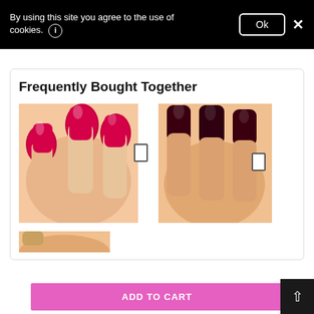By using this site you agree to the use of cookies. ℹ
Frequently Bought Together
[Figure (photo): Close-up of hand with bright red/pink nail polish on square nails]
[Figure (photo): Close-up of hand with dark burgundy/black nail polish on square nails]
[Figure (photo): Partial view of hand with nail polish, cropped at bottom]
ADD TO CART